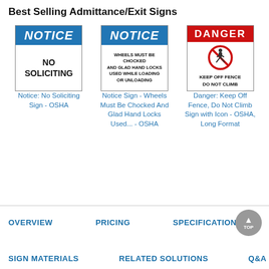Best Selling Admittance/Exit Signs
[Figure (illustration): Notice: No Soliciting sign - OSHA style with blue NOTICE header and NO SOLICITING text in body]
Notice: No Soliciting Sign - OSHA
[Figure (illustration): Notice Sign - Wheels Must Be Chocked And Glad Hand Locks Used While Loading Or Unloading - OSHA style with blue NOTICE header]
Notice Sign - Wheels Must Be Chocked And Glad Hand Locks Used... - OSHA
[Figure (illustration): Danger: Keep Off Fence Do Not Climb sign with red DANGER header and prohibitory icon - OSHA Long Format]
Danger: Keep Off Fence, Do Not Climb Sign with Icon - OSHA, Long Format
OVERVIEW
PRICING
SPECIFICATION
SIGN MATERIALS
RELATED SOLUTIONS
Q&A